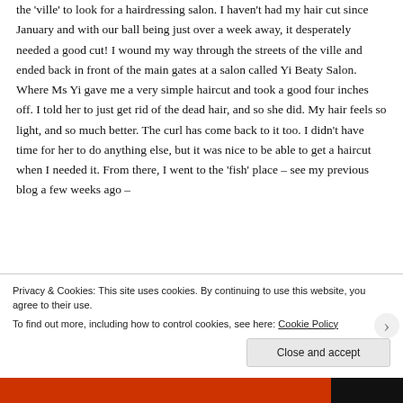the 'ville' to look for a hairdressing salon. I haven't had my hair cut since January and with our ball being just over a week away, it desperately needed a good cut! I wound my way through the streets of the ville and ended back in front of the main gates at a salon called Yi Beaty Salon. Where Ms Yi gave me a very simple haircut and took a good four inches off. I told her to just get rid of the dead hair, and so she did. My hair feels so light, and so much better. The curl has come back to it too. I didn't have time for her to do anything else, but it was nice to be able to get a haircut when I needed it. From there, I went to the 'fish' place – see my previous blog a few weeks ago –
Privacy & Cookies: This site uses cookies. By continuing to use this website, you agree to their use. To find out more, including how to control cookies, see here: Cookie Policy